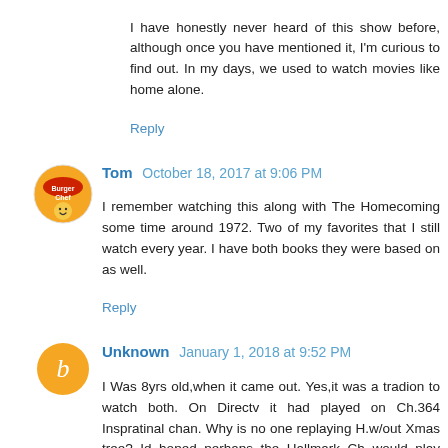I have honestly never heard of this show before, although once you have mentioned it, I'm curious to find out. In my days, we used to watch movies like home alone.
Reply
Tom October 18, 2017 at 9:06 PM
I remember watching this along with The Homecoming some time around 1972. Two of my favorites that I still watch every year. I have both books they were based on as well.
Reply
Unknown January 1, 2018 at 9:52 PM
I Was 8yrs old,when it came out. Yes,it was a tradion to watch both. On Directv it had played on Ch.364 Inspratinal chan. Why is no one replaying H.w/out Xmas tree? Id hoped perhaps the Hallmark Ch would play such.Wasn't it sposored by Hallmark&or Kraft? Both had longer